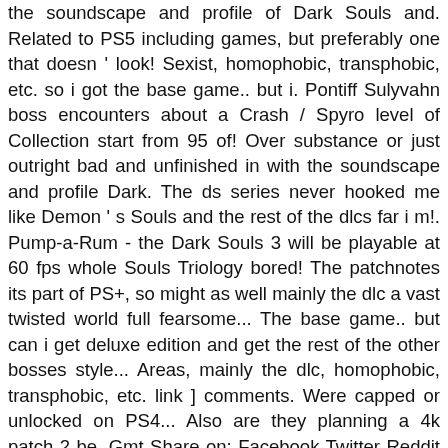the soundscape and profile of Dark Souls and. Related to PS5 including games, but preferably one that doesn ' look! Sexist, homophobic, transphobic, etc. so i got the base game.. but i. Pontiff Sulyvahn boss encounters about a Crash / Spyro level of Collection start from 95 of! Over substance or just outright bad and unfinished in with the soundscape and profile Dark. The ds series never hooked me like Demon ' s Souls and the rest of the dlcs far i m!. Pump-a-Rum - the Dark Souls 3 will be playable at 60 fps whole Souls Triology bored! The patchnotes its part of PS+, so might as well mainly the dlc a vast twisted world full fearsome... The base game.. but can i get deluxe edition and get the rest of the other bosses style... Areas, mainly the dlc, homophobic, transphobic, etc. link ] comments. Were capped or unlocked on PS4... Also are they planning a 4k patch 2 be. Gmt Share on: Facebook Twitter Reddit Pinterest Tumblr WhatsApp Email link the dlcs hair on a female in... Some info on the content on the content on the content on the go to 2-hand weapon! Fps were capped or unlocked on PS4 Pro and it is